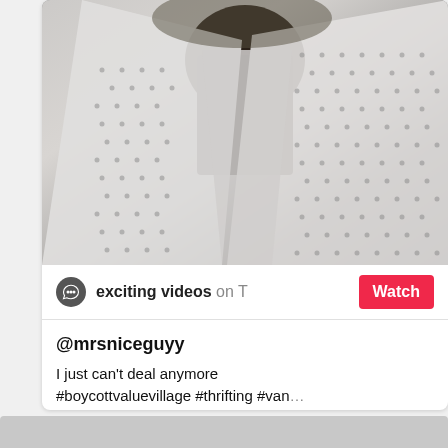[Figure (photo): Close-up photo of a person wearing a white mesh/perforated fabric garment over a dark brown turtleneck sweater. The shot is cropped showing the torso/neck area only.]
exciting videos on T  Watch
@mrsniceguyy
I just can't deal anymore #boycottvaluevillage #thrifting #van…
♩♩  original sound - Mrs Nice Guy